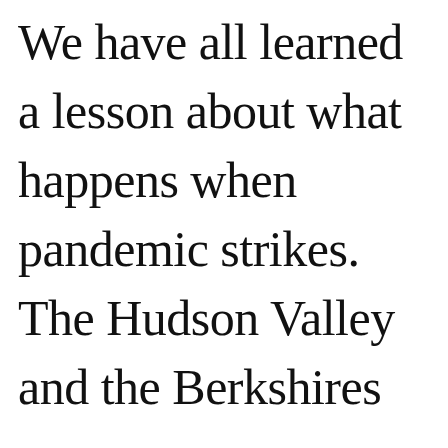We have all learned a lesson about what happens when pandemic strikes. The Hudson Valley and the Berkshires